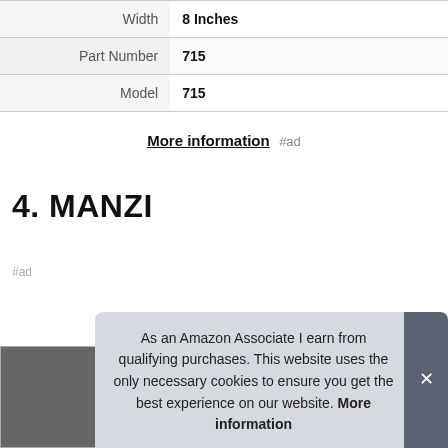|  |  |
| --- | --- |
| Width | 8 Inches |
| Part Number | 715 |
| Model | 715 |
More information #ad
4. MANZI
#ad
As an Amazon Associate I earn from qualifying purchases. This website uses the only necessary cookies to ensure you get the best experience on our website. More information